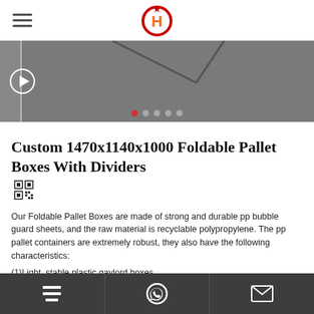Navigation header with hamburger menu and company logo
[Figure (photo): Hero image showing a foldable pallet box close-up in grey, with a play button overlay and carousel dots (red dot active, grey dots inactive)]
Custom 1470x1140x1000 Foldable Pallet Boxes With Dividers
Our Foldable Pallet Boxes are made of strong and durable pp bubble guard sheets, and the raw material is recyclable polypropylene. The pp pallet containers are extremely robust, they also have the following characteristics:
(1)Light, stable plastic gaylord boxes
(2)Foldable pallet sleeve
(3)Up to 80% decreased transport costs
(4)Guaranteed safe, clean, and efficient transportation
Bottom toolbar with list/menu icon, WhatsApp icon, and email icon